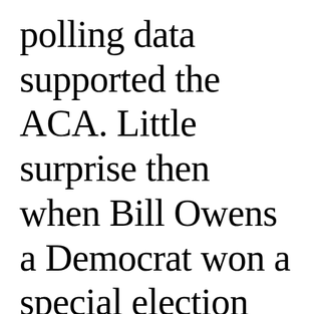polling data supported the ACA. Little surprise then when Bill Owens a Democrat won a special election and held this seat for two